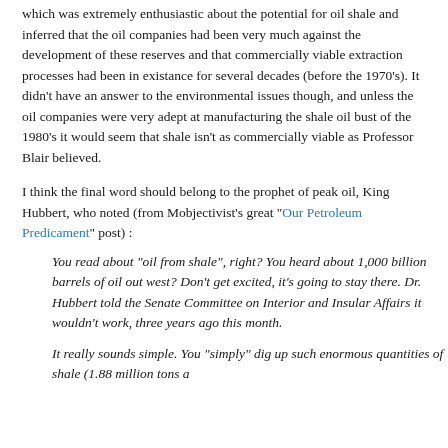which was extremely enthusiastic about the potential for oil shale and inferred that the oil companies had been very much against the development of these reserves and that commercially viable extraction processes had been in existance for several decades (before the 1970's). It didn't have an answer to the environmental issues though, and unless the oil companies were very adept at manufacturing the shale oil bust of the 1980's it would seem that shale isn't as commercially viable as Professor Blair believed.
I think the final word should belong to the prophet of peak oil, King Hubbert, who noted (from Mobjectivist's great "Our Petroleum Predicament" post) :
You read about "oil from shale", right? You heard about 1,000 billion barrels of oil out west? Don't get excited, it's going to stay there. Dr. Hubbert told the Senate Committee on Interior and Insular Affairs it wouldn't work, three years ago this month.
It really sounds simple. You "simply" dig up such enormous quantities of shale (1.88 million tons a...